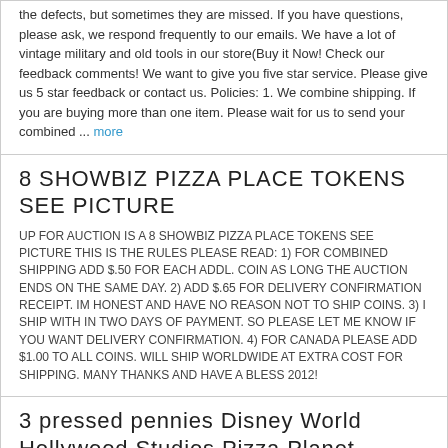the defects, but sometimes they are missed. If you have questions, please ask, we respond frequently to our emails. We have a lot of vintage military and old tools in our store(Buy it Now! Check our feedback comments! We want to give you five star service. Please give us 5 star feedback or contact us. Policies: 1. We combine shipping. If you are buying more than one item. Please wait for us to send your combined ... more
8 SHOWBIZ PIZZA PLACE TOKENS SEE PICTURE
UP FOR AUCTION IS A 8 SHOWBIZ PIZZA PLACE TOKENS SEE PICTURE THIS IS THE RULES PLEASE READ: 1) FOR COMBINED SHIPPING ADD $.50 FOR EACH ADDL. COIN AS LONG THE AUCTION ENDS ON THE SAME DAY. 2) ADD $.65 FOR DELIVERY CONFIRMATION RECEIPT. IM HONEST AND HAVE NO REASON NOT TO SHIP COINS. 3) I SHIP WITH IN TWO DAYS OF PAYMENT. SO PLEASE LET ME KNOW IF YOU WANT DELIVERY CONFIRMATION. 4) FOR CANADA PLEASE ADD $1.00 TO ALL COINS. WILL SHIP WORLDWIDE AT EXTRA COST FOR SHIPPING. MANY THANKS AND HAVE A BLESS 2012!
3 pressed pennies Disney World Hollywood Studios Pizza Planet Incredibles Cars +
3 pressed pennies from Pizza Planet at Disney's Hollywood Studios. Designs: Maleficent(Villains series) Violet(The Incredibles) and